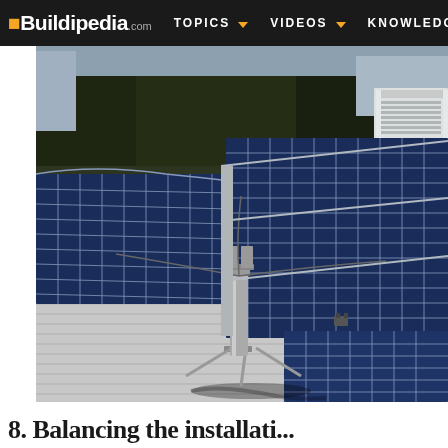Buildipedia.com  TOPICS  VIDEOS  KNOWLEDGE
[Figure (photo): Aerial/elevated view of a commercial rooftop covered with blue photovoltaic solar panels arranged in rows, with a metal roof, a cylindrical pipe/vent with metal supports in the foreground, trees and a white rooftop structure visible in the background.]
8. Balancing the installation...